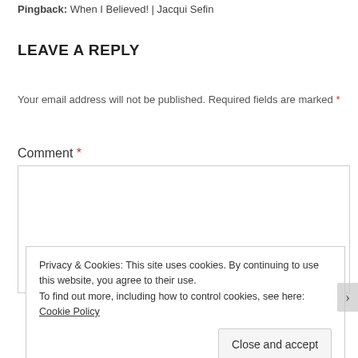Pingback: When I Believed! | Jacqui Sefin
LEAVE A REPLY
Your email address will not be published. Required fields are marked *
Comment *
Privacy & Cookies: This site uses cookies. By continuing to use this website, you agree to their use.
To find out more, including how to control cookies, see here: Cookie Policy
Close and accept